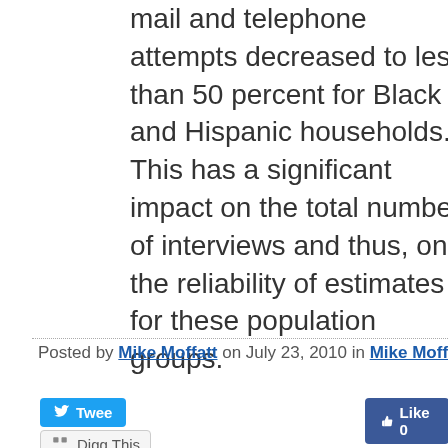mail and telephone attempts decreased to less than 50 percent for Black and Hispanic households. This has a significant impact on the total number of interviews and thus, on the reliability of estimates for these population groups.
Posted by Mike Moffatt on July 23, 2010 in Mike Moffatt | Permalink
Tweet
Like 0
Digg This